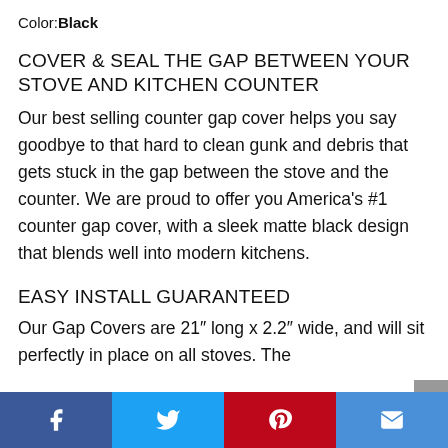Color: Black
COVER & SEAL THE GAP BETWEEN YOUR STOVE AND KITCHEN COUNTER
Our best selling counter gap cover helps you say goodbye to that hard to clean gunk and debris that gets stuck in the gap between the stove and the counter. We are proud to offer you America's #1 counter gap cover, with a sleek matte black design that blends well into modern kitchens.
EASY INSTALL GUARANTEED
Our Gap Covers are 21″ long x 2.2″ wide, and will sit perfectly in place on all stoves. The
Social share bar: Facebook, Twitter, Pinterest, Email